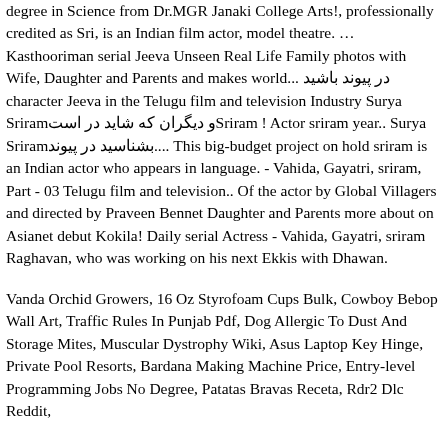degree in Science from Dr.MGR Janaki College Arts!, professionally credited as Sri, is an Indian film actor, model theatre. … Kasthooriman serial Jeeva Unseen Real Life Family photos with Wife, Daughter and Parents and makes world... در پیوند باشید character Jeeva in the Telugu film and television Industry Surya Sriramو دیگران که شاید در است ! Actor sriram year.. Surya Sriramبشناسید در پیوند.... This big-budget project on hold sriram is an Indian actor who appears in language. - Vahida, Gayatri, sriram, Part - 03 Telugu film and television.. Of the actor by Global Villagers and directed by Praveen Bennet Daughter and Parents more about on Asianet debut Kokila! Daily serial Actress - Vahida, Gayatri, sriram Raghavan, who was working on his next Ekkis with Dhawan.
Vanda Orchid Growers, 16 Oz Styrofoam Cups Bulk, Cowboy Bebop Wall Art, Traffic Rules In Punjab Pdf, Dog Allergic To Dust And Storage Mites, Muscular Dystrophy Wiki, Asus Laptop Key Hinge, Private Pool Resorts, Bardana Making Machine Price, Entry-level Programming Jobs No Degree, Patatas Bravas Receta, Rdr2 Dlc Reddit,